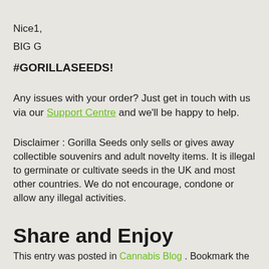Nice1,
BIG G
#GORILLASEEDS!
Any issues with your order? Just get in touch with us via our Support Centre and we'll be happy to help.
Disclaimer : Gorilla Seeds only sells or gives away collectible souvenirs and adult novelty items. It is illegal to germinate or cultivate seeds in the UK and most other countries. We do not encourage, condone or allow any illegal activities.
Share and Enjoy
This entry was posted in Cannabis Blog . Bookmark the